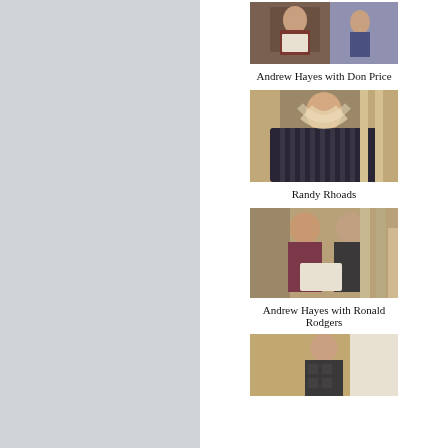[Figure (photo): Photo of Andrew Hayes with Don Price holding a certificate]
Andrew Hayes with Don Price
[Figure (photo): Photo of Randy Rhoads standing alone in black striped jacket with long white hair]
Randy Rhoads
[Figure (photo): Photo of Andrew Hayes with Ronald Rodgers holding a framed certificate]
Andrew Hayes with Ronald Rodgers
[Figure (photo): Photo of a person standing alone in argyle sweater]